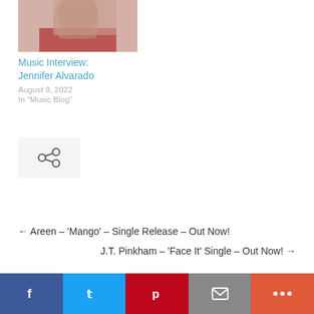[Figure (photo): Partial photo of a woman with dark hair wearing a red outfit, cropped at top]
Music Interview: Jennifer Alvarado
August 9, 2022
In "Music Blog"
[Figure (other): Share/link icon button on light grey background]
← Areen – 'Mango' – Single Release – Out Now!
J.T. Pinkham – 'Face It' Single – Out Now! →